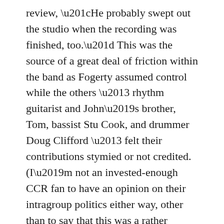review, “He probably swept out the studio when the recording was finished, too.” This was the source of a great deal of friction within the band as Fogerty assumed control while the others – rhythm guitarist and John’s brother, Tom, bassist Stu Cook, and drummer Doug Clifford – felt their contributions stymied or not credited. (I’m not an invested-enough CCR fan to have an opinion on their intragroup politics either way, other than to say that this was a rather amazingly productive and successful run of albums, so they must’ve been doing something right.)
Proud Mary was the album’s hit, reaching #2 on the singles chart. Born on the Bayou was a